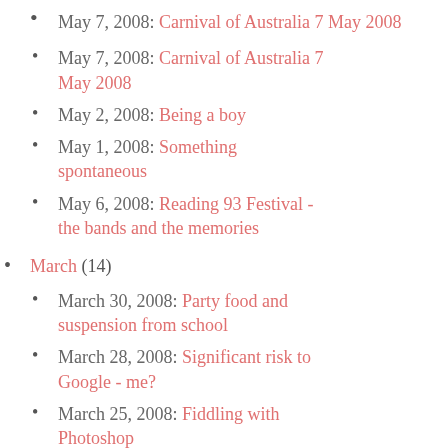May 7, 2008: Carnival of Australia 7 May 2008
May 2, 2008: Being a boy
May 1, 2008: Something spontaneous
May 6, 2008: Reading 93 Festival - the bands and the memories
March (14)
March 30, 2008: Party food and suspension from school
March 28, 2008: Significant risk to Google - me?
March 25, 2008: Fiddling with Photoshop
March 24, 2008: Damn Facebook spam